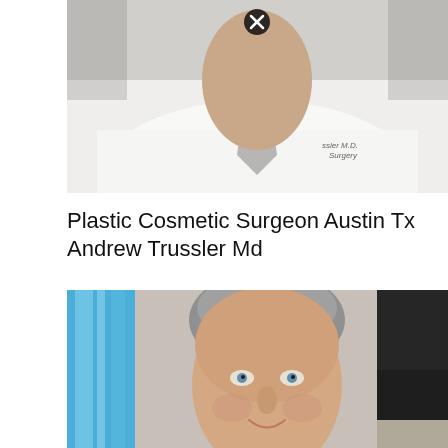[Figure (photo): Black and white photo of a doctor in a white lab coat with a patterned tie, showing a name embroidery reading 'Trussler M.D. Surgery', with a close/delete button overlay at the top center]
Plastic Cosmetic Surgeon Austin Tx Andrew Trussler Md
[Figure (photo): Color portrait photo of Dr. Andrew Trussler, a middle-aged man with grey hair and blue eyes, smiling, wearing blue surgical scrubs and a necklace, with a blue glass panel visible on the left and dark background on the right, with a close/delete button overlay at the bottom center]